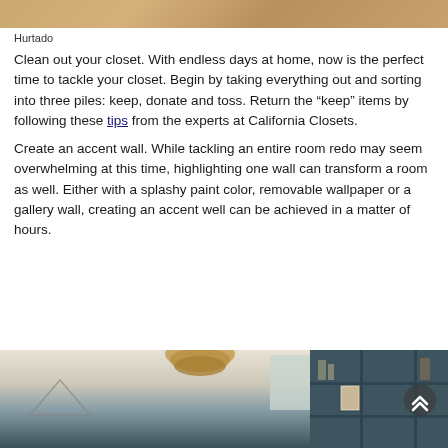[Figure (photo): Top strip of a room interior photo, showing warm wooden tones]
Hurtado
Clean out your closet. With endless days at home, now is the perfect time to tackle your closet. Begin by taking everything out and sorting into three piles: keep, donate and toss. Return the “keep” items by following these tips from the experts at California Closets.
Create an accent wall. While tackling an entire room redo may seem overwhelming at this time, highlighting one wall can transform a room as well. Either with a splashy paint color, removable wallpaper or a gallery wall, creating an accent well can be achieved in a matter of hours.
[Figure (photo): Bottom portion showing a room interior with dark teal shelving unit, wicker pendant light, framed art, and decorative items]